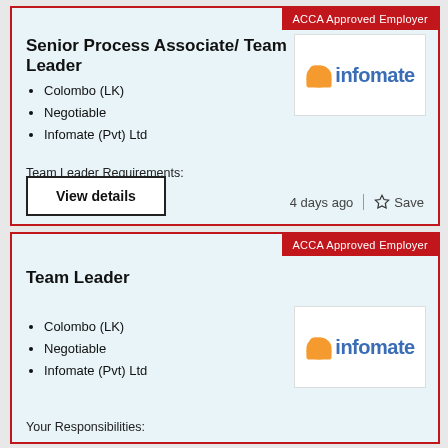ACCA Approved Employer
Senior Process Associate/ Team Leader
Colombo (LK)
Negotiable
Infomate (Pvt) Ltd
[Figure (logo): Infomate logo - orange icon and blue text]
Team Leader Requirements:
4+ years' experience in…
View details
4 days ago
Save
ACCA Approved Employer
Team Leader
Colombo (LK)
Negotiable
Infomate (Pvt) Ltd
[Figure (logo): Infomate logo - orange icon and blue text]
Your Responsibilities: